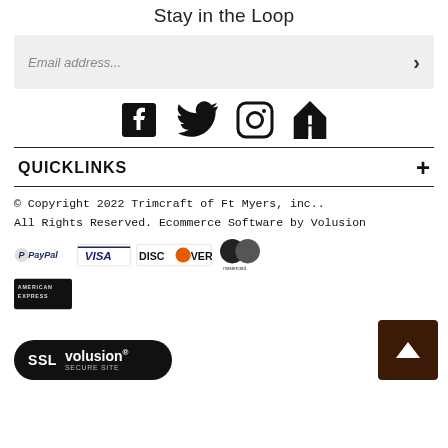Stay in the Loop
Email address...
[Figure (infographic): Social media icons: Facebook, Twitter, Instagram, Houzz]
QUICKLINKS
© Copyright 2022 Trimcraft of Ft Myers, inc..
All Rights Reserved. Ecommerce Software by Volusion
[Figure (logo): Payment logos: PayPal, VISA, DISCOVER, Mastercard, American Express]
[Figure (logo): SSL Volusion Secure Site badge and back-to-top button]